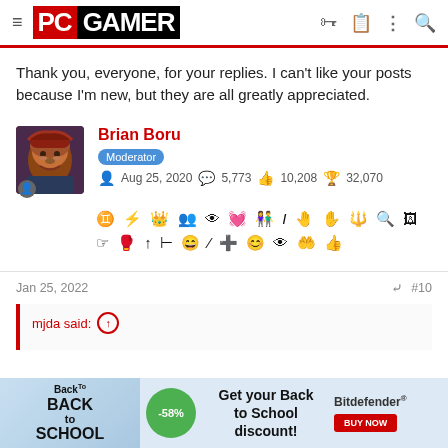PC GAMER
Thank you, everyone, for your replies. I can't like your posts because I'm new, but they are all greatly appreciated.
Brian Boru
Moderator
Aug 25, 2020   5,773   10,208   32,070
[Figure (other): Row of achievement/badge icons for user Brian Boru]
Jan 25, 2022   #10
mjda said: ↑
[Figure (infographic): Back to School -58% discount advertisement for Bitdefender]